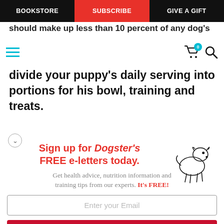BOOKSTORE | SUBSCRIBE | GIVE A GIFT
should make up less than 10 percent of any dog's
divide your puppy's daily serving into portions for his bowl, training and treats.
[Figure (infographic): Dogster newsletter sign-up promotional box with illustrated dog, headline 'Sign up for Dogster's FREE e-letters today.', subtext about health advice and training tips, email input field, and red sign-up button.]
Sign up for Dogster's FREE e-letters today.
Get health advice, nutrition information and training tips from our experts. It's FREE!
Enter your Email
YES! SIGN ME UP